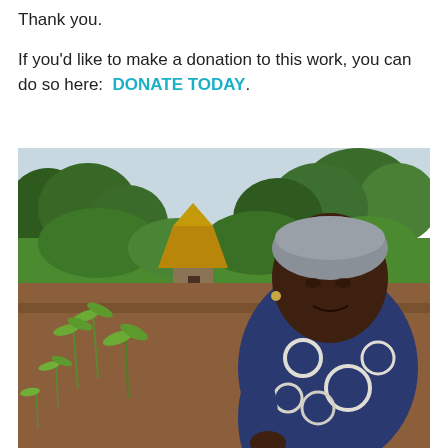Thank you.
If you'd like to make a donation to this work, you can do so here: DONATE TODAY.
[Figure (photo): A woman wearing a dark blue and white patterned shirt and a grey head wrap sits in a field with young maize/corn seedlings in dry soil. Behind her is a traditional round thatched-roof hut surrounded by lush green trees and vegetation.]